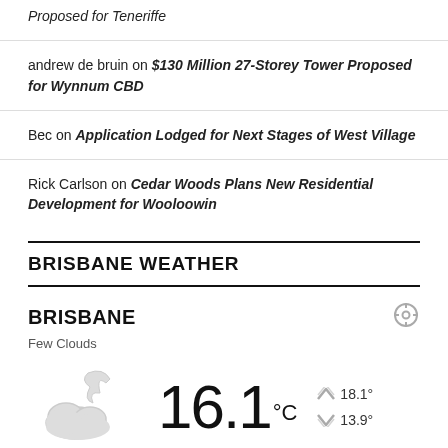Proposed for Teneriffe
andrew de bruin on $130 Million 27-Storey Tower Proposed for Wynnum CBD
Bec on Application Lodged for Next Stages of West Village
Rick Carlson on Cedar Woods Plans New Residential Development for Wooloowin
BRISBANE WEATHER
BRISBANE
Few Clouds
16.1 °C
High 18.1°
Low 13.9°